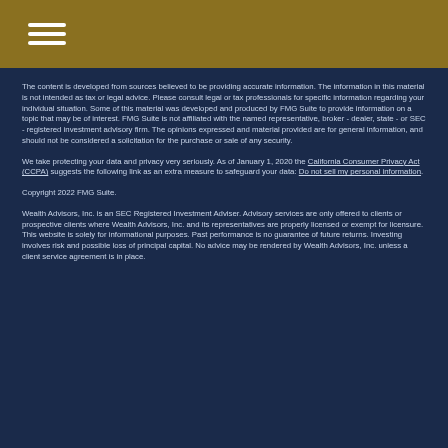Navigation menu (hamburger icon)
The content is developed from sources believed to be providing accurate information. The information in this material is not intended as tax or legal advice. Please consult legal or tax professionals for specific information regarding your individual situation. Some of this material was developed and produced by FMG Suite to provide information on a topic that may be of interest. FMG Suite is not affiliated with the named representative, broker - dealer, state - or SEC - registered investment advisory firm. The opinions expressed and material provided are for general information, and should not be considered a solicitation for the purchase or sale of any security.
We take protecting your data and privacy very seriously. As of January 1, 2020 the California Consumer Privacy Act (CCPA) suggests the following link as an extra measure to safeguard your data: Do not sell my personal information.
Copyright 2022 FMG Suite.
Wealth Advisors, Inc. is an SEC Registered Investment Adviser. Advisory services are only offered to clients or prospective clients where Wealth Advisors, Inc. and its representatives are properly licensed or exempt for licensure. This website is solely for informational purposes. Past performance is no guarantee of future returns. Investing involves risk and possible loss of principal capital. No advice may be rendered by Wealth Advisors, Inc. unless a client service agreement is in place.